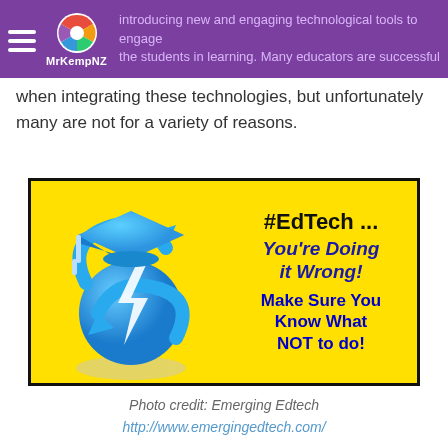introducing new and engaging technological tools to engage the students in learning. Many educators are successful when integrating these technologies, but unfortunately many are not for a variety of reasons.
when integrating these technologies, but unfortunately many are not for a variety of reasons.
[Figure (illustration): Yellow background banner with a blue graduation cap and circular arrow figure on the left. Text on right reads: #EdTech ... You're Doing it Wrong! Make Sure You Know What NOT to do!]
Photo credit: Emerging Edtech
http://www.emergingedtech.com/